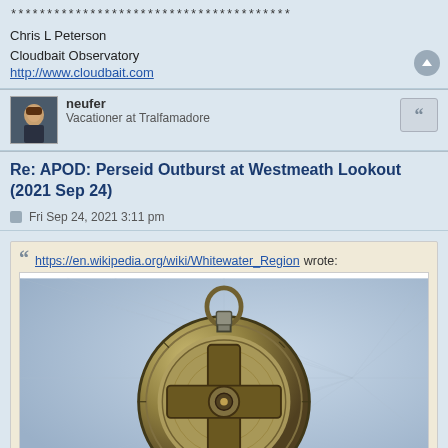*************************************** Chris L Peterson
Cloudbait Observatory
http://www.cloudbait.com
neufer
Vacationer at Tralfamadore
Re: APOD: Perseid Outburst at Westmeath Lookout (2021 Sep 24)
Fri Sep 24, 2021 3:11 pm
https://en.wikipedia.org/wiki/Whitewater_Region wrote:
[Figure (photo): Close-up photograph of an antique astrolabe navigation instrument against a faded map background. The brass/metal instrument shows a circular ring with detailed engravings and a central cross-shaped component.]